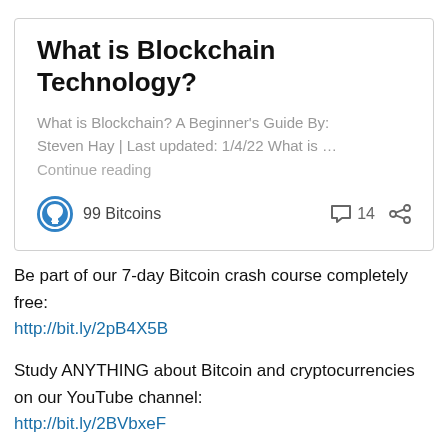What is Blockchain Technology?
What is Blockchain? A Beginner's Guide By: Steven Hay | Last updated: 1/4/22 What is …
Continue reading
99 Bitcoins
14
Be part of our 7-day Bitcoin crash course completely free:
http://bit.ly/2pB4X5B
Study ANYTHING about Bitcoin and cryptocurrencies on our YouTube channel:
http://bit.ly/2BVbxeF